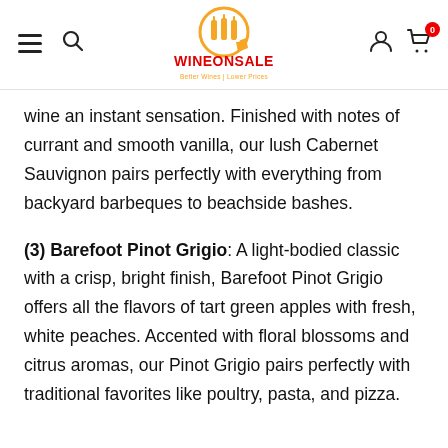WINEONSALE — Better Wines | Lower Prices
wine an instant sensation. Finished with notes of currant and smooth vanilla, our lush Cabernet Sauvignon pairs perfectly with everything from backyard barbeques to beachside bashes.
(3) Barefoot Pinot Grigio: A light-bodied classic with a crisp, bright finish, Barefoot Pinot Grigio offers all the flavors of tart green apples with fresh, white peaches. Accented with floral blossoms and citrus aromas, our Pinot Grigio pairs perfectly with traditional favorites like poultry, pasta, and pizza.